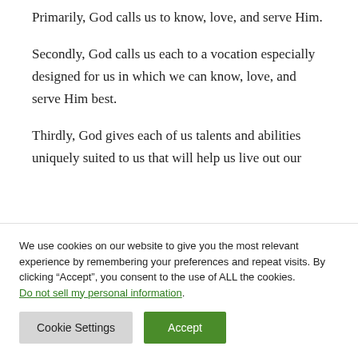Primarily, God calls us to know, love, and serve Him.
Secondly, God calls us each to a vocation especially designed for us in which we can know, love, and serve Him best.
Thirdly, God gives each of us talents and abilities uniquely suited to us that will help us live out our
We use cookies on our website to give you the most relevant experience by remembering your preferences and repeat visits. By clicking “Accept”, you consent to the use of ALL the cookies. Do not sell my personal information.
Cookie Settings  Accept